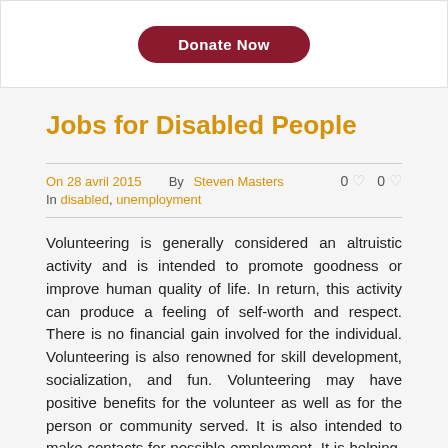[Figure (other): Donate Now button — dark red rounded rectangle with white text]
Jobs for Disabled People
On 28 avril 2015   By Steven Masters   0  0
In disabled, unemployment
Volunteering is generally considered an altruistic activity and is intended to promote goodness or improve human quality of life. In return, this activity can produce a feeling of self-worth and respect. There is no financial gain involved for the individual. Volunteering is also renowned for skill development, socialization, and fun. Volunteering may have positive benefits for the volunteer as well as for the person or community served. It is also intended to make contacts for possible employment. It is helping, assisting, or serving another person or persons without pay. Many volunteers are specifically trained in the areas they work, such as medicine, education, or emergency rescue. Others serve on an as-needed basis, such as in